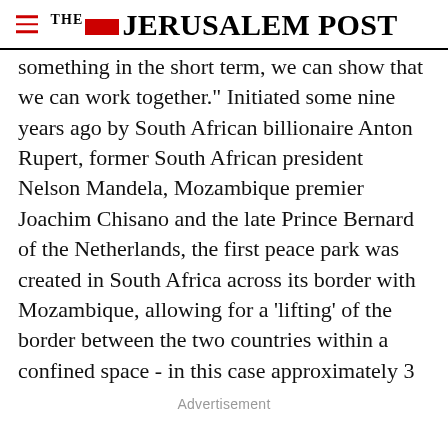THE JERUSALEM POST
something in the short term, we can show that we can work together." Initiated some nine years ago by South African billionaire Anton Rupert, former South African president Nelson Mandela, Mozambique premier Joachim Chisano and the late Prince Bernard of the Netherlands, the first peace park was created in South Africa across its border with Mozambique, allowing for a 'lifting' of the border between the two countries within a confined space - in this case approximately 3
Advertisement